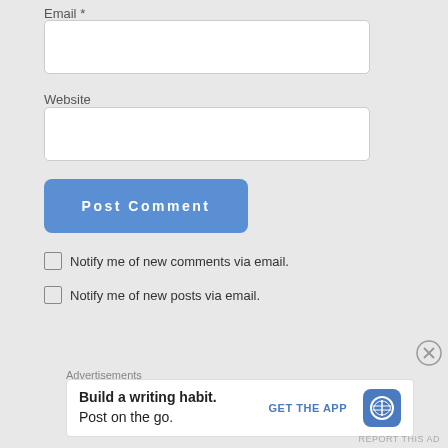Email *
[Figure (other): Empty email input text field]
Website
[Figure (other): Empty website input text field]
[Figure (other): Post Comment button (blue rounded rectangle)]
Notify me of new comments via email.
Notify me of new posts via email.
Advertisements
[Figure (other): WordPress app advertisement: Build a writing habit. Post on the go. GET THE APP with WordPress logo]
REPORT THIS AD